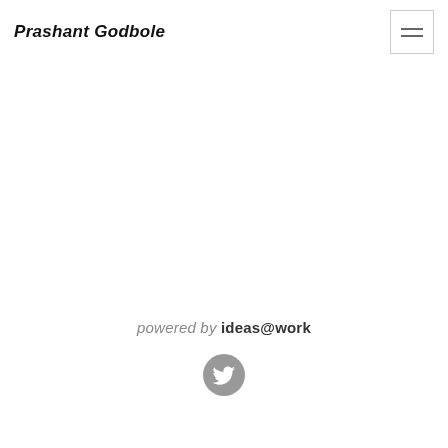Prashant Godbole
powered by ideas@work
[Figure (logo): Twitter bird icon in a grey circle]